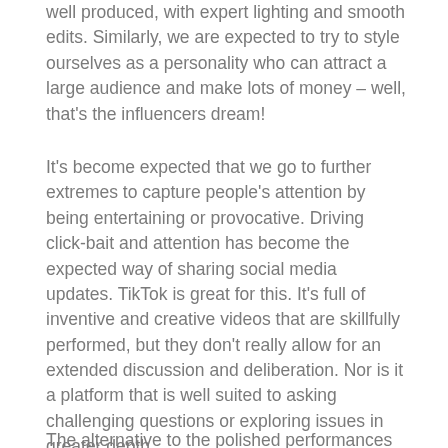well produced, with expert lighting and smooth edits. Similarly, we are expected to try to style ourselves as a personality who can attract a large audience and make lots of money – well, that's the influencers dream!
It's become expected that we go to further extremes to capture people's attention by being entertaining or provocative. Driving click-bait and attention has become the expected way of sharing social media updates. TikTok is great for this. It's full of inventive and creative videos that are skillfully performed, but they don't really allow for an extended discussion and deliberation. Nor is it a platform that is well suited to asking challenging questions or exploring issues in greater depth.
The alternative to the polished performances of